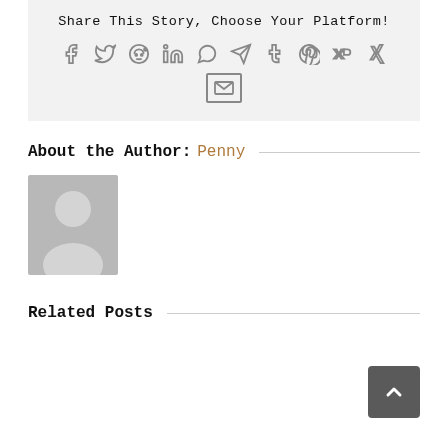Share This Story, Choose Your Platform!
[Figure (infographic): Social media sharing icons in a row: Facebook, Twitter, Reddit, LinkedIn, WhatsApp, Telegram, Tumblr, Pinterest, VK, Xing, and Email]
About the Author: Penny
[Figure (photo): Generic grey avatar placeholder image showing a person silhouette]
Related Posts